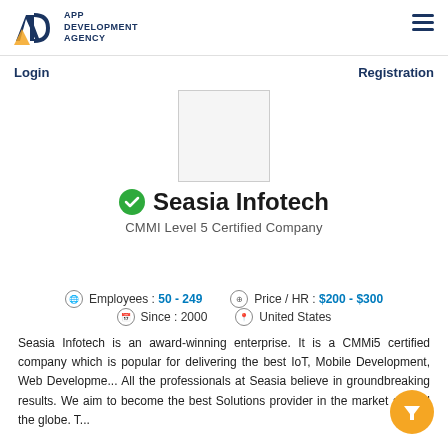APP DEVELOPMENT AGENCY
Login
Registration
[Figure (logo): Seasia Infotech company logo placeholder (white box)]
Seasia Infotech
CMMI Level 5 Certified Company
VISIT PROFILE
Employees : 50 - 249   Price / HR : $200 - $300
Since : 2000   United States
Seasia Infotech is an award-winning enterprise. It is a CMMi5 certified company which is popular for delivering the best IoT, Mobile Development, Web Developme... All the professionals at Seasia believe in groundbreaking results. We aim to become the best Solutions provider in the market around the globe. T...